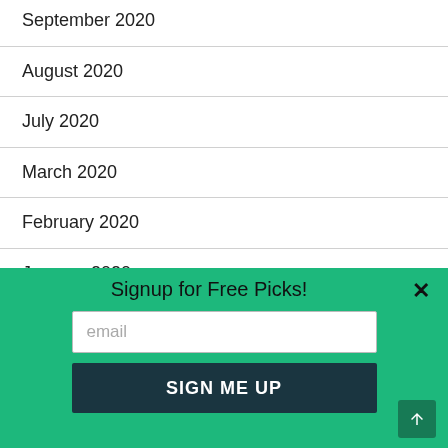September 2020
August 2020
July 2020
March 2020
February 2020
January 2020
September 2019
August 2019
February 2019
Signup for Free Picks!
email
SIGN ME UP